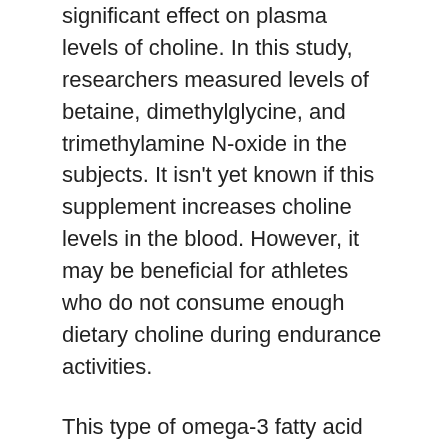significant effect on plasma levels of choline. In this study, researchers measured levels of betaine, dimethylglycine, and trimethylamine N-oxide in the subjects. It isn't yet known if this supplement increases choline levels in the blood. However, it may be beneficial for athletes who do not consume enough dietary choline during endurance activities.
This type of omega-3 fatty acid has many benefits. It also increases the HS-Omega-3 Index. This index measures the amounts of EPA and DHA in the red blood cell membranes. This supplement is particularly useful in addressing oxidative stress after intense power training, such as CrossFit. Research suggests that 82% of CrossFit athletes had an Omega-3 index lower than recommended. Krill oil also has many other